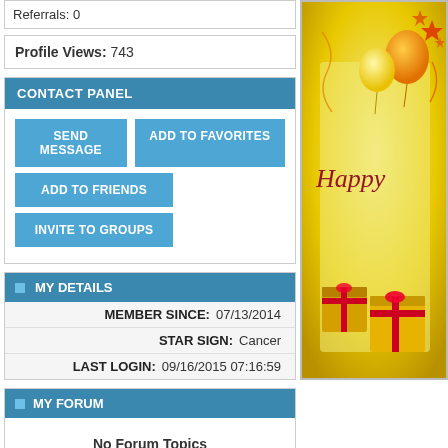Referrals: 0
Profile Views: 743
CONTACT PANEL
SEND MESSAGE
ADD TO FAVORITES
ADD TO FRIENDS
INVITE TO GROUPS
MY DETAILS
MEMBER SINCE: 07/13/2014
STAR SIGN: Cancer
LAST LOGIN: 09/16/2015 07:16:59
MY FORUM
No Forum Topics
My Topics: 0   Guest Topics: 0
View More
[Figure (illustration): Birthday card illustration with balloons, stars, gift boxes on golden background with cursive Happy text]